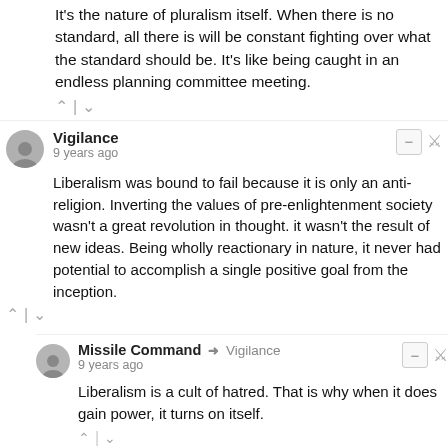It's the nature of pluralism itself. When there is no standard, all there is will be constant fighting over what the standard should be. It's like being caught in an endless planning committee meeting.
^ | v
Vigilance • 9 years ago
Liberalism was bound to fail because it is only an anti-religion. Inverting the values of pre-enlightenment society wasn't a great revolution in thought. it wasn't the result of new ideas. Being wholly reactionary in nature, it never had potential to accomplish a single positive goal from the inception.
^ | v
Missile Command → Vigilance • 9 years ago
Liberalism is a cult of hatred. That is why when it does gain power, it turns on itself.
^ | v
Dault Classer • ...